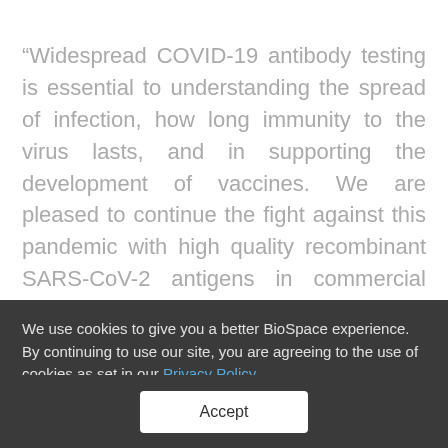“Widespread COVID-19 antibody testing is essential to understanding the spread of infection, how long immunity to the virus lasts, and in supporting the development of vaccines. We are pleased to continue the fight against this pandemic with high quality recombinant SARS-CoV-2 antigens in commercial scale to support the immediate demand for COVID-19 antibody testing,” commented Lourdes Weltzien, Ph.D.,
We use cookies to give you a better BioSpace experience. By continuing to use our site, you are agreeing to the use of cookies as set in our Privacy Policy.
Accept